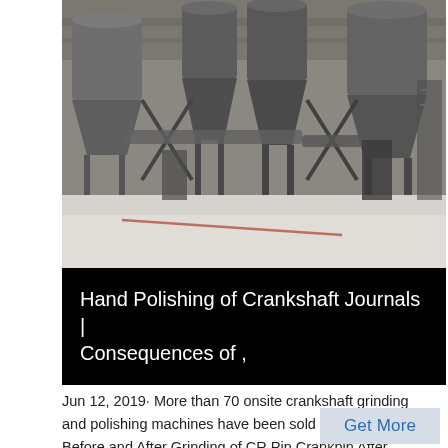[Figure (photo): Industrial facility interior showing large metal hoppers, silos, and dust collection equipment suspended from steel framework, with a pale dusty floor and warehouse-style roof structure.]
Hand Polishing of Crankshaft Journals | Consequences of ,
Jun 12, 2019· More than 70 onsite crankshaft grinding and polishing machines have been sold all over the world Before and After Grinding of CR Pin Crankpin After Grinding of Crankshaft This ,
Get More